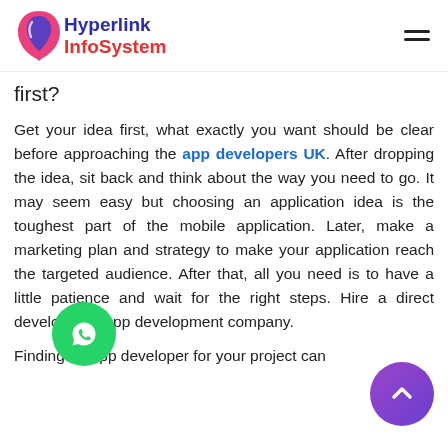Hyperlink InfoSystem
first?
Get your idea first, what exactly you want should be clear before approaching the app developers UK. After dropping the idea, sit back and think about the way you need to go. It may seem easy but choosing an application idea is the toughest part of the mobile application. Later, make a marketing plan and strategy to make your application reach the targeted audience. After that, all you need is to have a little patience and wait for the right steps. Hire a direct developer or app development company.
Finding an app developer for your project can